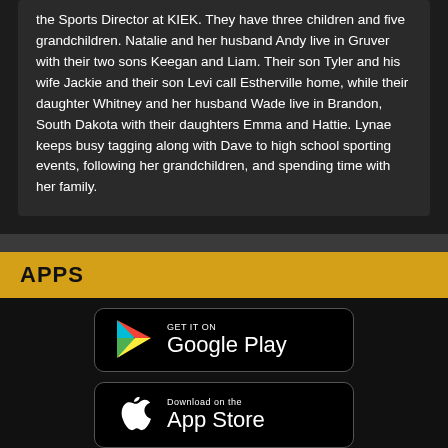the Sports Director at KIEK. They have three children and five grandchildren. Natalie and her husband Andy live in Gruver with their two sons Keegan and Liam. Their son Tyler and his wife Jackie and their son Levi call Estherville home, while their daughter Whitney and her husband Wade live in Brandon, South Dakota with their daughters Emma and Hattie. Lynae keeps busy tagging along with Dave to high school sporting events, following her grandchildren, and spending time with her family.
APPS
[Figure (logo): Google Play store download button with Play Store triangle logo]
[Figure (logo): Apple App Store download button with Apple logo]